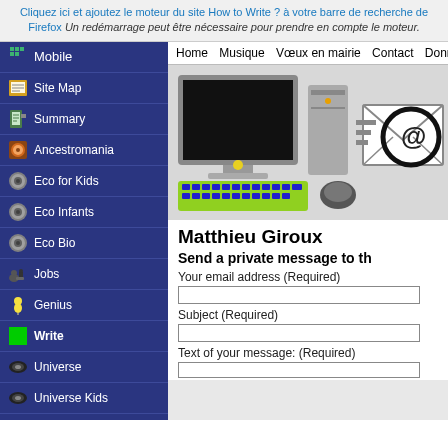Cliquez ici et ajoutez le moteur du site How to Write ? à votre barre de recherche de Firefox Un redémarrage peut être nécessaire pour prendre en compte le moteur.
Mobile
Site Map
Summary
Ancestromania
Eco for Kids
Eco Infants
Eco Bio
Jobs
Genius
Write
Universe
Universe Kids
God
God Kids
Christ
Home  Musique  Vœux en mairie  Contact  Donner
[Figure (illustration): Illustration of a computer with monitor, keyboard, and an email envelope with @ symbol and magnifying glass]
Matthieu Giroux
Send a private message to th
Your email address (Required)
Subject (Required)
Text of your message: (Required)